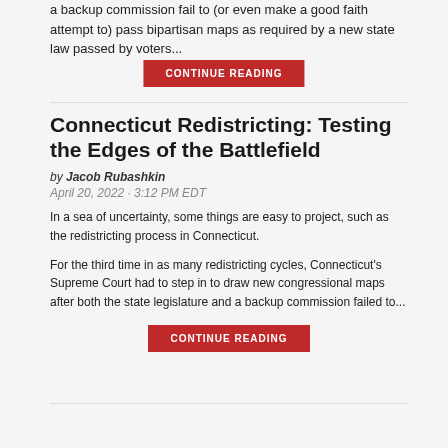a backup commission fail to (or even make a good faith attempt to) pass bipartisan maps as required by a new state law passed by voters...
CONTINUE READING
Connecticut Redistricting: Testing the Edges of the Battlefield
by Jacob Rubashkin
April 20, 2022 · 3:12 PM EDT
In a sea of uncertainty, some things are easy to project, such as the redistricting process in Connecticut.
For the third time in as many redistricting cycles, Connecticut's Supreme Court had to step in to draw new congressional maps after both the state legislature and a backup commission failed to...
CONTINUE READING